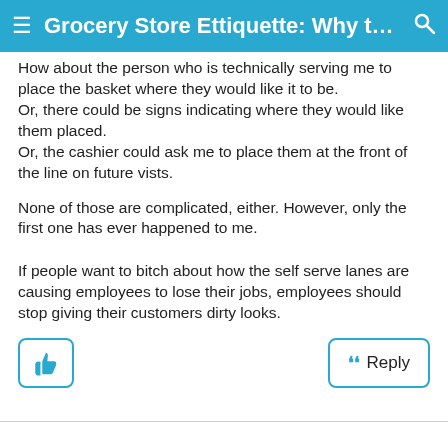Grocery Store Ettiquette: Why th...
How about the person who is technically serving me to place the basket where they would like it to be.
Or, there could be signs indicating where they would like them placed.
Or, the cashier could ask me to place them at the front of the line on future vists.
None of those are complicated, either. However, only the first one has ever happened to me.
If people want to bitch about how the self serve lanes are causing employees to lose their jobs, employees should stop giving their customers dirty looks.